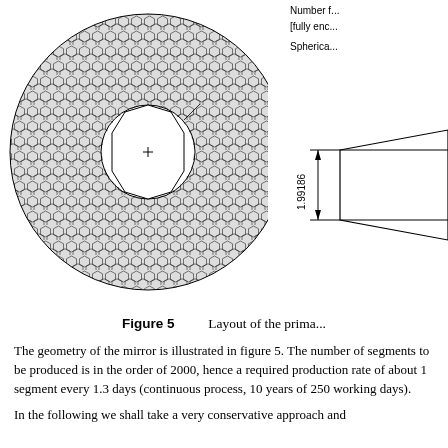[Figure (engineering-diagram): Engineering diagram showing a circular mirror layout (annular ring with hexagonal segment pattern and central hole) on the left, and a partial cross-section engineering drawing with dimension 1.99186 on the right. Text labels partially visible: 'Number f...' '[fully enc...' 'Spherica...']
Figure 5     Layout of the prima...
The geometry of the mirror is illustrated in figure 5. The number of segments to be produced is in the order of 2000, hence a required production rate of about 1 segment every 1.3 days (continuous process, 10 years of 250 working days).
In the following we shall take a very conservative approach and